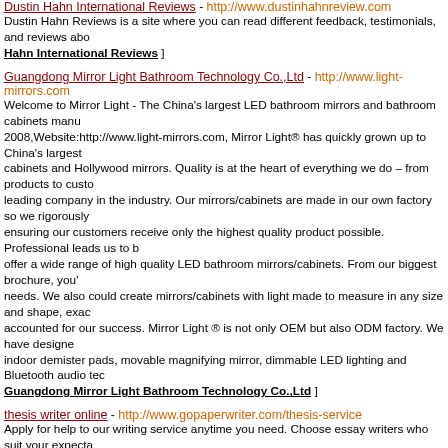Dustin Hahn International Reviews - http://www.dustinhahnreview.com
Dustin Hahn Reviews is a site where you can read different feedback, testimonials, and reviews abo... Hahn International Reviews ]
Guangdong Mirror Light Bathroom Technology Co.,Ltd - http://www.light-mirrors.com
Welcome to Mirror Light - The China's largest LED bathroom mirrors and bathroom cabinets manu... 2008,Website:http://www.light-mirrors.com, Mirror Light® has quickly grown up to China's largest cabinets and Hollywood mirrors. Quality is at the heart of everything we do – from products to custo... leading company in the industry. Our mirrors/cabinets are made in our own factory so we rigorously... ensuring our customers receive only the highest quality product possible.  Professional leads us to b... offer a wide range of high quality LED bathroom mirrors/cabinets. From our biggest brochure, you'... needs. We also could create mirrors/cabinets with light made to measure in any size and shape, exac... accounted for our success. Mirror Light ® is not only OEM but also ODM factory. We have designe... indoor demister pads, movable magnifying mirror, dimmable LED lighting and Bluetooth audio tec... Guangdong Mirror Light Bathroom Technology Co.,Ltd ]
thesis writer online - http://www.gopaperwriter.com/thesis-service
Apply for help to our writing service anytime you need. Choose essay writers who suit your expecta... experienced writers, a flexible pricing policy and a no-plagiarism requirement, we can become your professional academic writing services. »» [ Link Details for thesis writer online ]
FUSITE CO.,LTD - http://www.chinasprayerpump.com
We are specilized in manufacturing knapsack power sprayer,Website:http://www.chinasprayerpump... sprayer, gasoline water pump and garden tools. Used for Garden spraying, pest control, sterilization, places. Widely used in farmland , orchards , gardens , vegetable base rule controlling pests , water p... places , such as cleaning and garbage site disinfection spray medicine . »» [ Link Details for FUSI...
How To Take Low Light Photos Nikon D3200 - http://www.sdfz.com.cn/home.php?mod=space&ui...
Taking photos is a thing that anyone can do. You don't must be a professional or have skilled produc... who have some skilled suggestions and recommendations on how to undertake it correctly, anyone w... demonstrate. Use manual bright white stability to spice up your images. »» [ Link Details for How
Anguo City Sorter World Netting - http://www.twosidewin.com
Our History we are a manufacturer in many kinds of metal chain curtain for more than 20 years .Fro... factory,Website:http://www.twosidewin.com, we have full experience. Our Factory Sorter World Ne... of architectural decorative wire mesh products, such as metal drapery, metallic choth, metal ball cha... which have many applications for curtains, dividers, window treatments, wall & ceiling treatment...